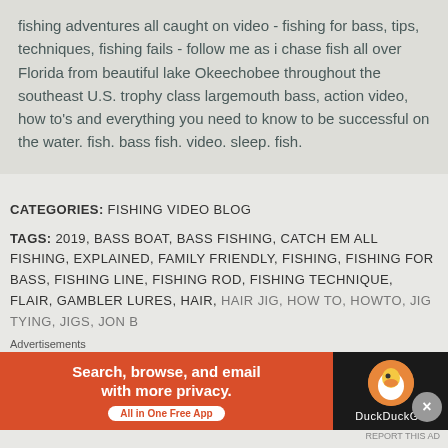fishing adventures all caught on video - fishing for bass, tips, techniques, fishing fails - follow me as i chase fish all over Florida from beautiful lake Okeechobee throughout the southeast U.S. trophy class largemouth bass, action video, how to's and everything you need to know to be successful on the water. fish. bass fish. video. sleep. fish.
CATEGORIES: FISHING VIDEO BLOG
TAGS: 2019, BASS BOAT, BASS FISHING, CATCH EM ALL FISHING, EXPLAINED, FAMILY FRIENDLY, FISHING, FISHING FOR BASS, FISHING LINE, FISHING ROD, FISHING TECHNIQUE, FLAIR, GAMBLER LURES, HAIR, HAIR JIG, HOW TO, HOWTO, JIG TYING, JIGS, JON B...
Advertisements
[Figure (screenshot): DuckDuckGo advertisement banner: orange/red left side with text 'Search, browse, and email with more privacy. All in One Free App', dark right side with DuckDuckGo logo/duck icon]